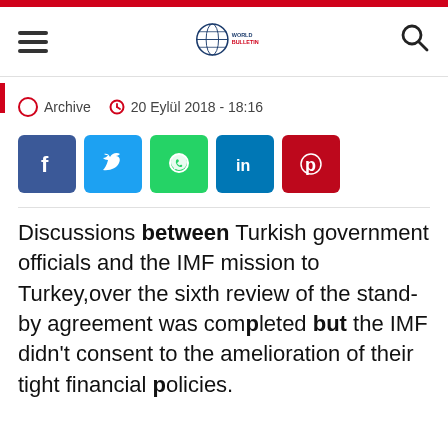World Bulletin - navigation header with hamburger menu, logo, and search icon
Archive   20 Eylül 2018 - 18:16
[Figure (other): Social media share buttons: Facebook, Twitter, WhatsApp, LinkedIn, Pinterest]
Discussions between Turkish government officials and the IMF mission to Turkey,over the sixth review of the stand-by agreement was completed but the IMF didn't consent to the amelioration of their tight financial policies.